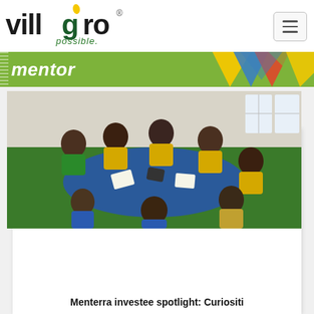[Figure (logo): Villgro logo with text 'possible.' in green]
mentor
[Figure (photo): Children in yellow school uniforms sitting around a blue table, working with papers and tablets in a classroom with green floor]
Menterra investee spotlight: Curiositi